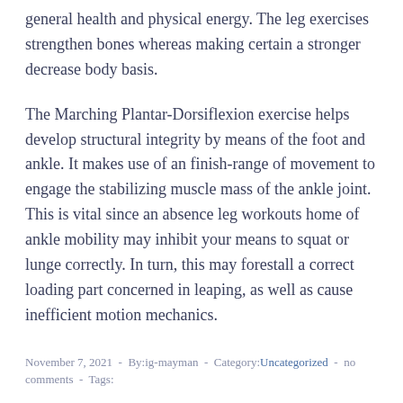general health and physical energy. The leg exercises strengthen bones whereas making certain a stronger decrease body basis.
The Marching Plantar-Dorsiflexion exercise helps develop structural integrity by means of the foot and ankle. It makes use of an finish-range of movement to engage the stabilizing muscle mass of the ankle joint. This is vital since an absence leg workouts home of ankle mobility may inhibit your means to squat or lunge correctly. In turn, this may forestall a correct loading part concerned in leaping, as well as cause inefficient motion mechanics.
November 7, 2021  -  By:ig-mayman  -  Category:Uncategorized  -  no comments  -  Tags: